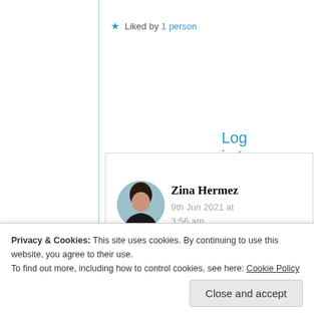★ Liked by 1 person
Log in to Reply
Zina Hermez
9th Jun 2021 at 3:56 am
Aww, thank you! XOXO
Privacy & Cookies: This site uses cookies. By continuing to use this website, you agree to their use.
To find out more, including how to control cookies, see here: Cookie Policy
Close and accept